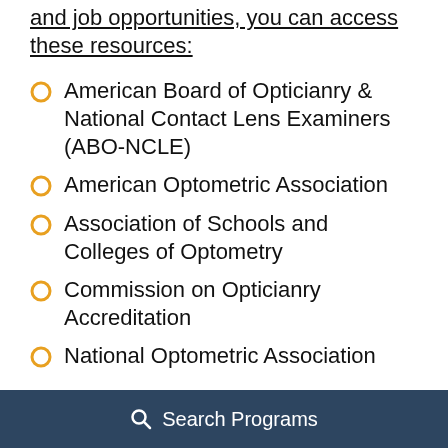and job opportunities, you can access these resources:
American Board of Opticianry & National Contact Lens Examiners (ABO-NCLE)
American Optometric Association
Association of Schools and Colleges of Optometry
Commission on Opticianry Accreditation
National Optometric Association
OptiCon is an event that can bring opticians together for various seminars, workshops, and more.
Search Programs